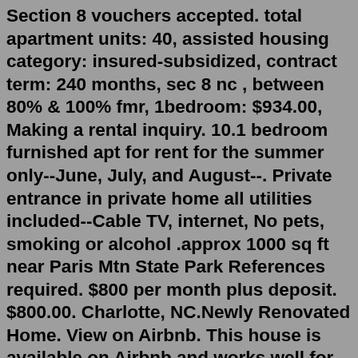Section 8 vouchers accepted. total apartment units: 40, assisted housing category: insured-subsidized, contract term: 240 months, sec 8 nc , between 80% & 100% fmr, 1bedroom: $934.00, Making a rental inquiry. 10.1 bedroom furnished apt for rent for the summer only--June, July, and August--. Private entrance in private home all utilities included--Cable TV, internet, No pets, smoking or alcohol .approx 1000 sq ft near Paris Mtn State Park References required. $800 per month plus deposit. $800.00. Charlotte, NC.Newly Renovated Home. View on Airbnb. This house is available on Airbnb and works well for up to eight guests in its three bedrooms and one bath. The house is minutes from Uptown Charlotte and has queen beds, twin beds, and a pull-out sofa. The host provides unlimited coffee and breakfast bars in the kitchen.Charlotte, NC Condos for Rent. The Queen City is certainly majestic, sitting among the rolling hills of the Carolina Piedmont, just east of the Catawba River and south of Lake Norman. Charlotte's population is booming and is one of the